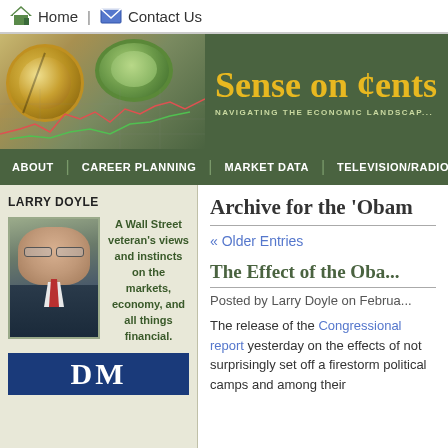Home | Contact Us
[Figure (illustration): Sense on Cents banner with compass, coin, stock chart, and tagline 'Navigating the Economic Landscape']
ABOUT | CAREER PLANNING | MARKET DATA | TELEVISION/RADIO | BL...
LARRY DOYLE
[Figure (photo): Photo of Larry Doyle, a middle-aged man in a suit with a red tie]
A Wall Street veteran's views and instincts on the markets, economy, and all things financial.
Archive for the 'Obam...
« Older Entries
The Effect of the Oba...
Posted by Larry Doyle on Februa...
The release of the Congressional report yesterday on the effects of not surprisingly set off a firestorm political camps and among their